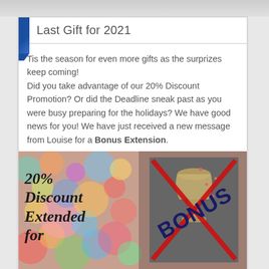Last Gift for 2021
Tis the season for even more gifts as the surprizes keep coming!
Did you take advantage of our 20% Discount Promotion? Or did the Deadline sneak past as you were busy preparing for the holidays? We have good news for you! We have just received a new message from Louise for a Bonus Extension.
[Figure (illustration): Promotional image showing bokeh bokeh holiday lights background on the left with cursive text '20% Discount Extended for' in black, and a dark grey panel on the right showing a trophy/goblet with red diagonal stripes and bold text 'BONUS' in dark navy.]